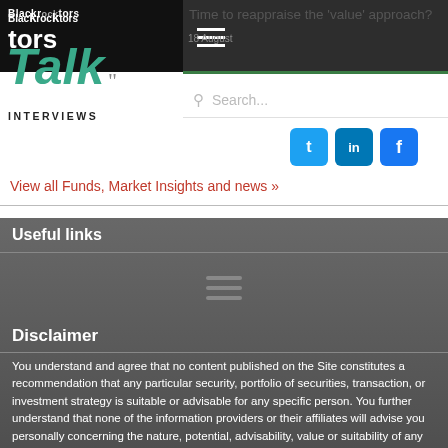Time to reappraise the 'value' approach?
18 August
[Figure (logo): Blackrocktors Talk Interviews logo with teal/green italic Talk text]
Search...
View all Funds, Market Insights and news »
Useful links
Disclaimer
You understand and agree that no content published on the Site constitutes a recommendation that any particular security, portfolio of securities, transaction, or investment strategy is suitable or advisable for any specific person. You further understand that none of the information providers or their affiliates will advise you personally concerning the nature, potential, advisability, value or suitability of any particular stock, share, security, portfolio of securities, transaction, investment strategy, or other matter. We openly disclose that we and our contributors may have interests in